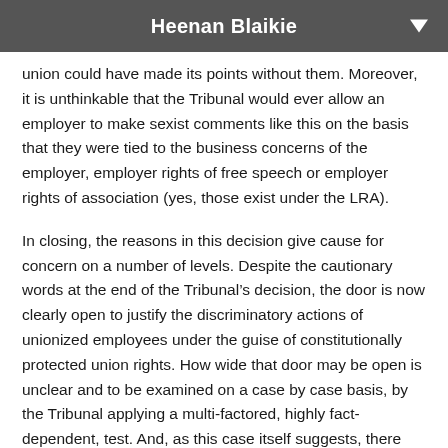Heenan Blaikie
union could have made its points without them. Moreover, it is unthinkable that the Tribunal would ever allow an employer to make sexist comments like this on the basis that they were tied to the business concerns of the employer, employer rights of free speech or employer rights of association (yes, those exist under the LRA).
In closing, the reasons in this decision give cause for concern on a number of levels. Despite the cautionary words at the end of the Tribunal’s decision, the door is now clearly open to justify the discriminatory actions of unionized employees under the guise of constitutionally protected union rights. How wide that door may be open is unclear and to be examined on a case by case basis, by the Tribunal applying a multi-factored, highly fact-dependent, test. And, as this case itself suggests, there appears to be two weights and two measures in the Tribunal’s case law dealing with discriminatory comments. If you are a non-management employee you stand to be